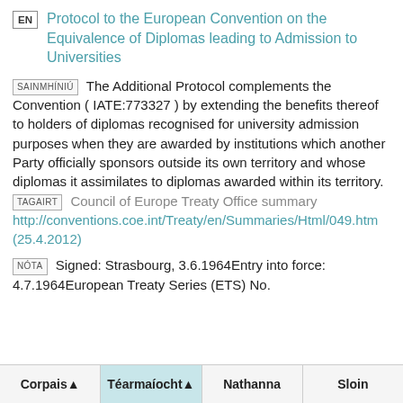Protocol to the European Convention on the Equivalence of Diplomas leading to Admission to Universities
SAINMHÍNIÚ The Additional Protocol complements the Convention ( IATE:773327 ) by extending the benefits thereof to holders of diplomas recognised for university admission purposes when they are awarded by institutions which another Party officially sponsors outside its own territory and whose diplomas it assimilates to diplomas awarded within its territory. TAGAIRT Council of Europe Treaty Office summary http://conventions.coe.int/Treaty/en/Summaries/Html/049.htm (25.4.2012)
NÓTA Signed: Strasbourg, 3.6.1964Entry into force: 4.7.1964European Treaty Series (ETS) No.
Corpais ▲   Téarmaíocht ▲   Nathanna   Sloin